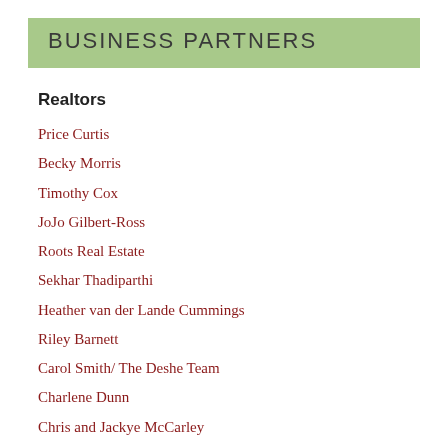BUSINESS PARTNERS
Realtors
Price Curtis
Becky Morris
Timothy Cox
JoJo Gilbert-Ross
Roots Real Estate
Sekhar Thadiparthi
Heather van der Lande Cummings
Riley Barnett
Carol Smith/ The Deshe Team
Charlene Dunn
Chris and Jackye McCarley
Donna Murphy
Gena Beach